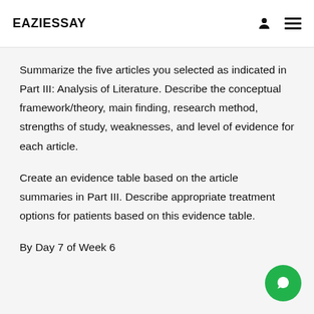EAZIESSAY
Summarize the five articles you selected as indicated in Part III: Analysis of Literature. Describe the conceptual framework/theory, main finding, research method, strengths of study, weaknesses, and level of evidence for each article.
Create an evidence table based on the article summaries in Part III. Describe appropriate treatment options for patients based on this evidence table.
By Day 7 of Week 6